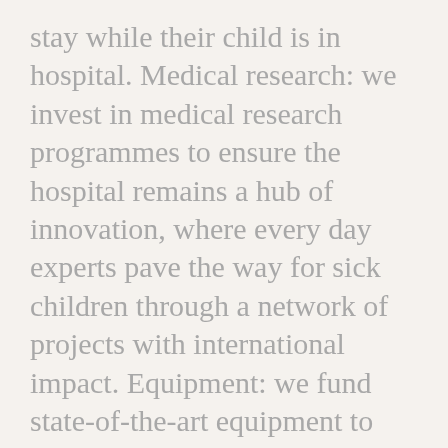stay while their child is in hospital. Medical research: we invest in medical research programmes to ensure the hospital remains a hub of innovation, where every day experts pave the way for sick children through a network of projects with international impact. Equipment: we fund state-of-the-art equipment to save lives. Music, play and art therapy: our music, play and arts programme can be seen on every ward at Bristol Children's Hospital, helping young children to deal with the stresses and fears they may face during treatment. Art enhancements: We work to make sure Bristol Children's Hospital provides a fun, stimulating and